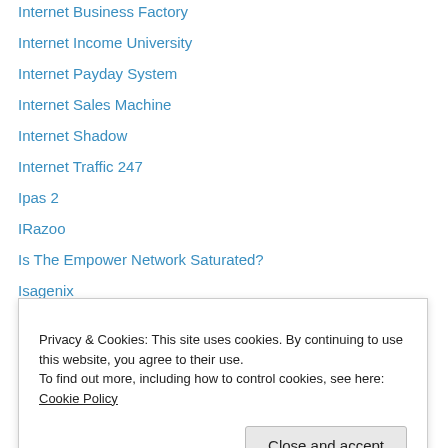Internet Business Factory
Internet Income University
Internet Payday System
Internet Sales Machine
Internet Shadow
Internet Traffic 247
Ipas 2
IRazoo
Is The Empower Network Saturated?
Isagenix
iTraffic Adboard
iWowWe
iWriter
JDL (partially visible)
Privacy & Cookies: This site uses cookies. By continuing to use this website, you agree to their use. To find out more, including how to control cookies, see here: Cookie Policy
Joel Therian